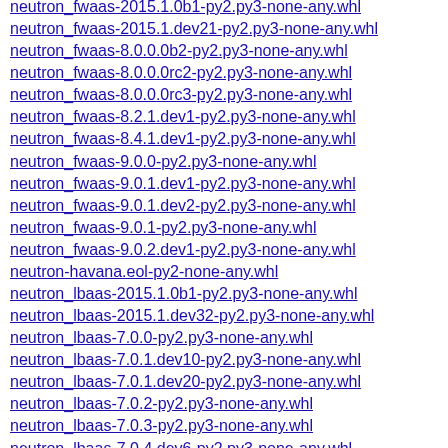neutron_fwaas-2015.1.0b1-py2.py3-none-any.whl
neutron_fwaas-2015.1.dev21-py2.py3-none-any.whl
neutron_fwaas-8.0.0.0b2-py2.py3-none-any.whl
neutron_fwaas-8.0.0.0rc2-py2.py3-none-any.whl
neutron_fwaas-8.0.0.0rc3-py2.py3-none-any.whl
neutron_fwaas-8.2.1.dev1-py2.py3-none-any.whl
neutron_fwaas-8.4.1.dev1-py2.py3-none-any.whl
neutron_fwaas-9.0.0-py2.py3-none-any.whl
neutron_fwaas-9.0.1.dev1-py2.py3-none-any.whl
neutron_fwaas-9.0.1.dev2-py2.py3-none-any.whl
neutron_fwaas-9.0.1-py2.py3-none-any.whl
neutron_fwaas-9.0.2.dev1-py2.py3-none-any.whl
neutron-havana.eol-py2-none-any.whl
neutron_lbaas-2015.1.0b1-py2.py3-none-any.whl
neutron_lbaas-2015.1.dev32-py2.py3-none-any.whl
neutron_lbaas-7.0.0-py2.py3-none-any.whl
neutron_lbaas-7.0.1.dev10-py2.py3-none-any.whl
neutron_lbaas-7.0.1.dev20-py2.py3-none-any.whl
neutron_lbaas-7.0.2-py2.py3-none-any.whl
neutron_lbaas-7.0.3-py2.py3-none-any.whl
neutron_lbaas-7.0.4.dev6-py2.py3-none-any.whl
neutron_lbaas-7.0.4.dev7-py2.py3-none-any.whl
neutron_lbaas-7.0.4-py2.py3-none-any.whl
neutron_lbaas-7.0.5.dev6-py2.py3-none-any.whl
neutron_lbaas-7.1.0-py2.py3-none-any.whl